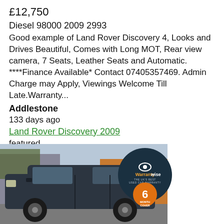£12,750
Diesel 98000 2009 2993
Good example of Land Rover Discovery 4, Looks and Drives Beautiful, Comes with Long MOT, Rear view camera, 7 Seats, Leather Seats and Automatic. ****Finance Available* Contact 07405357469. Admin Charge may Apply, Viewings Welcome Till Late.Warranty...
Addlestone
133 days ago
Land Rover Discovery 2009
featured
urgent
[Figure (photo): Photo of a dark-coloured Land Rover Discovery 4 SUV parked outdoors, with a Warrantywise 6 Month Cover badge overlaid in the top-right corner of the image.]